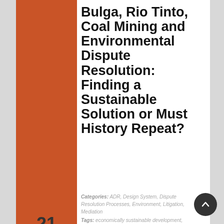Bulga, Rio Tinto, Coal Mining and Environmental Dispute Resolution: Finding a Sustainable Solution or Must History Repeat?
Categories: ADR, Design System, Dispute Resolution Processes, Environment, Litigation, Mediation
Tags: economically sustainable development, environment
Comments: No
21 AUG
Developers have sometimes been described as having a Marxian philosophy when it comes to inter-generational equity and Ecologically Sustainable Development (ESD). This is based on the statement loosely attributed to Marx: “Why should I care about the future generation, what have they ever done for me[i]”